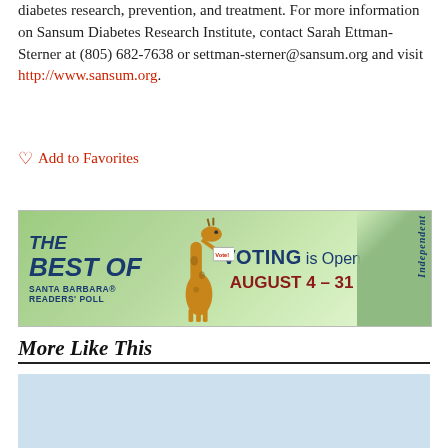diabetes research, prevention, and treatment. For more information on Sansum Diabetes Research Institute, contact Sarah Ettman-Sterner at (805) 682-7638 or settman-sterner@sansum.org and visit http://www.sansum.org.
♡ Add to Favorites
[Figure (advertisement): Best of Santa Barbara Readers' Poll - Voting is Open August 4 - 31. Santa Barbara Independent banner ad with giraffe illustration on green background.]
More Like This
[Figure (advertisement): Santa Barbara Independent - Business Classes advertisement with teal text on light blue background, featuring Independent logo badge.]